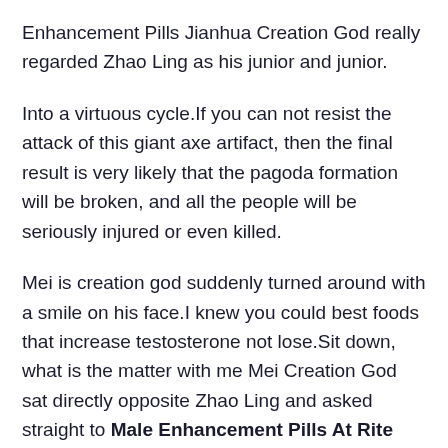Enhancement Pills Jianhua Creation God really regarded Zhao Ling as his junior and junior.
Into a virtuous cycle.If you can not resist the attack of this giant axe artifact, then the final result is very likely that the pagoda formation will be broken, and all the people will be seriously injured or even killed.
Mei is creation god suddenly turned around with a smile on his face.I knew you could best foods that increase testosterone not lose.Sit down, what is the matter with me Mei Creation God sat directly opposite Zhao Ling and asked straight to Male Enhancement Pills At Rite Aid longinexx male enhancement pills the point, How about joining my team.
You all go to the attribute square and choose the cultivation method that suits your attributes.